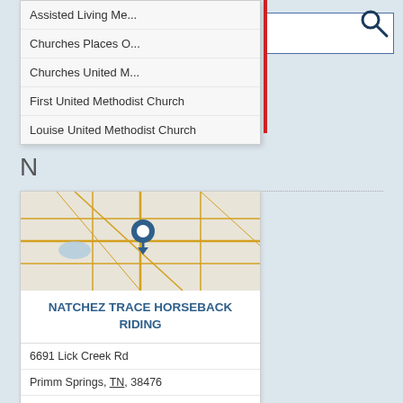Assisted Living Me...
Churches Places O...
Churches United M...
First United Methodist Church
Louise United Methodist Church
N
[Figure (map): Map showing location of Natchez Trace Horseback Riding with a blue pin marker]
NATCHEZ TRACE HORSEBACK RIDING
6691 Lick Creek Rd
Primm Springs, TN, 38476
9316823706
Horse Auction
Horse Boarding
Horse Hay For Sale
Horseback Riding Lessons
Livestock